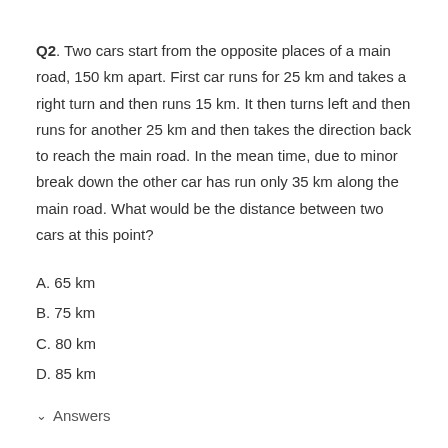Q2. Two cars start from the opposite places of a main road, 150 km apart. First car runs for 25 km and takes a right turn and then runs 15 km. It then turns left and then runs for another 25 km and then takes the direction back to reach the main road. In the mean time, due to minor break down the other car has run only 35 km along the main road. What would be the distance between two cars at this point?
A. 65 km
B. 75 km
C. 80 km
D. 85 km
Answers